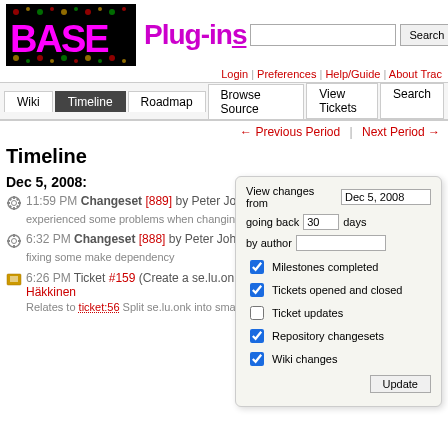BASE Plug-ins — Timeline
Login | Preferences | Help/Guide | About Trac
Wiki | Timeline | Roadmap | Browse Source | View Tickets | Search
← Previous Period | Next Period →
Timeline
Dec 5, 2008:
11:59 PM Changeset [889] by Peter Johansson
experienced some problems when changing from normal build to VPATH ...
6:32 PM Changeset [888] by Peter Johansson
fixing some make dependency
6:26 PM Ticket #159 (Create a se.lu.onk.VirtualArray module) created by Jari Häkkinen
Relates to ticket:56 Split se.lu.onk into smaller modules. Change to GPL3.